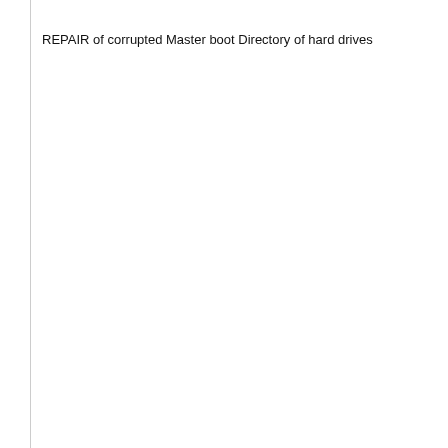REPAIR of corrupted Master boot Directory of hard drives